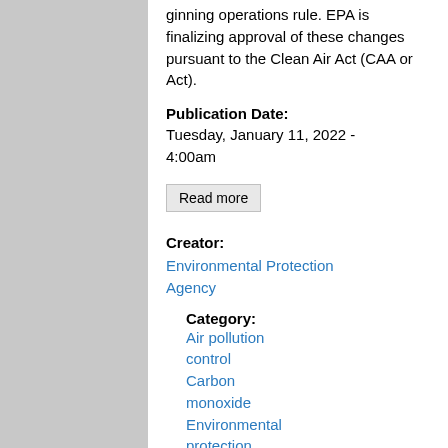ginning operations rule. EPA is finalizing approval of these changes pursuant to the Clean Air Act (CAA or Act).
Publication Date:
Tuesday, January 11, 2022 - 4:00am
Read more
Creator:
Environmental Protection Agency
Category:
Air pollution control
Carbon monoxide
Environmental protection
Incorporation by reference
Intergovernmental